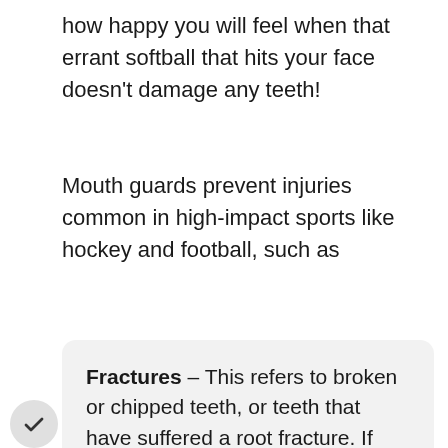how happy you will feel when that errant softball that hits your face doesn't damage any teeth!
Mouth guards prevent injuries common in high-impact sports like hockey and football, such as
Fractures – This refers to broken or chipped teeth, or teeth that have suffered a root fracture. If you or your child suffer this type of injury, you will need to gather any fragments of the tooth and get them, and the athlete, to our orthodontist in Chandler